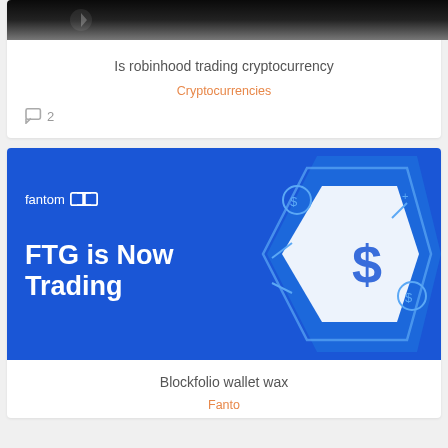[Figure (photo): Dark/black top image banner with faint logo/arrow icon visible]
Is robinhood trading cryptocurrency
Cryptocurrencies
2 comments
[Figure (illustration): Fantom FTG is Now Trading promotional banner in blue with crypto graphics]
Blockfolio wallet wax
Fantom